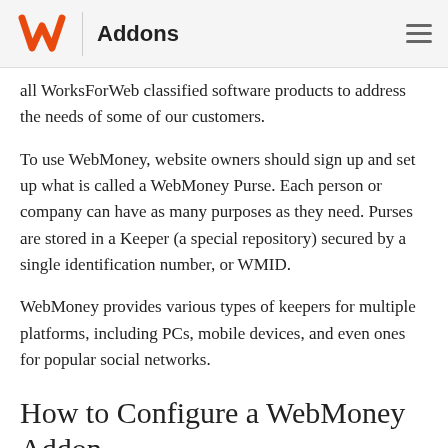Addons
all WorksForWeb classified software products to address the needs of some of our customers.
To use WebMoney, website owners should sign up and set up what is called a WebMoney Purse. Each person or company can have as many purposes as they need. Purses are stored in a Keeper (a special repository) secured by a single identification number, or WMID.
WebMoney provides various types of keepers for multiple platforms, including PCs, mobile devices, and even ones for popular social networks.
How to Configure a WebMoney Addon